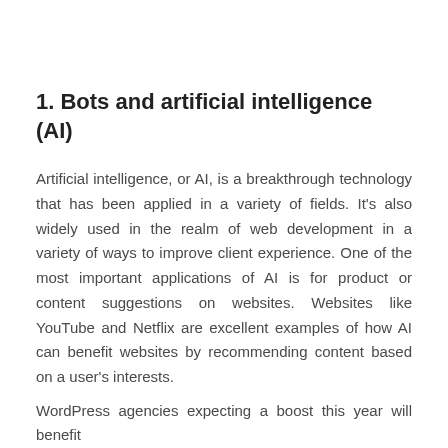1. Bots and artificial intelligence (AI)
Artificial intelligence, or AI, is a breakthrough technology that has been applied in a variety of fields. It's also widely used in the realm of web development in a variety of ways to improve client experience. One of the most important applications of AI is for product or content suggestions on websites. Websites like YouTube and Netflix are excellent examples of how AI can benefit websites by recommending content based on a user's interests.
WordPress agencies expecting a boost this year will benefit